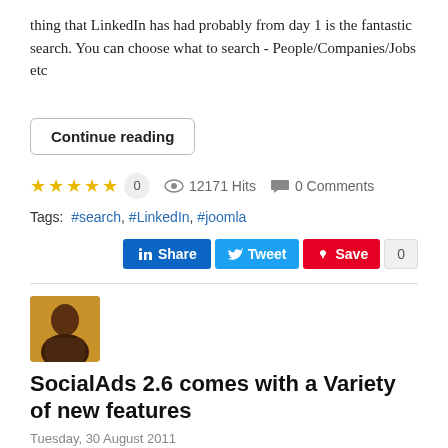thing that LinkedIn has had probably from day 1 is the fantastic search. You can choose what to search - People/Companies/Jobs etc
Continue reading
0  12171 Hits  0 Comments
Tags: #search, #LinkedIn, #joomla
[Figure (screenshot): Social sharing buttons: LinkedIn Share, Tweet, Pinterest Save, and a count badge showing 0]
[Figure (photo): Author profile photo thumbnail showing a person]
SocialAds 2.6 comes with a Variety of new features
Tuesday, 30 August 2011